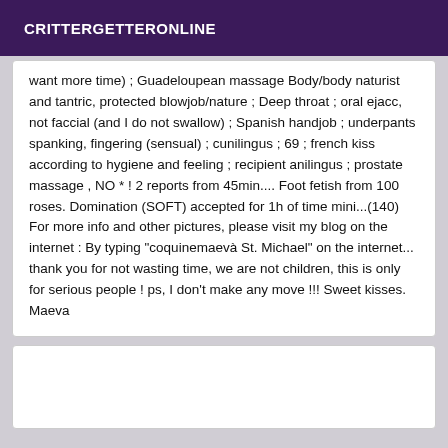CRITTERGETTERONLINE
want more time) ; Guadeloupean massage Body/body naturist and tantric, protected blowjob/nature ; Deep throat ; oral ejacc, not faccial (and I do not swallow) ; Spanish handjob ; underpants spanking, fingering (sensual) ; cunilingus ; 69 ; french kiss according to hygiene and feeling ; recipient anilingus ; prostate massage , NO * ! 2 reports from 45min.... Foot fetish from 100 roses. Domination (SOFT) accepted for 1h of time mini...(140) For more info and other pictures, please visit my blog on the internet : By typing "coquinemaevà St. Michael" on the internet... thank you for not wasting time, we are not children, this is only for serious people ! ps, I don't make any move !!! Sweet kisses. Maeva